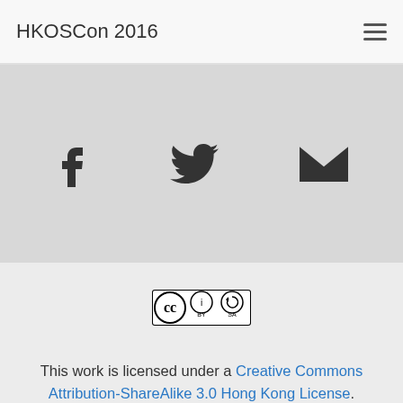HKOSCon 2016
[Figure (other): Social sharing icons: Facebook (f), Twitter bird, and email envelope icons on a grey background]
[Figure (logo): Creative Commons BY-SA license badge]
This work is licensed under a Creative Commons Attribution-ShareAlike 3.0 Hong Kong License. Logos and trademarks belong to their respective owners.